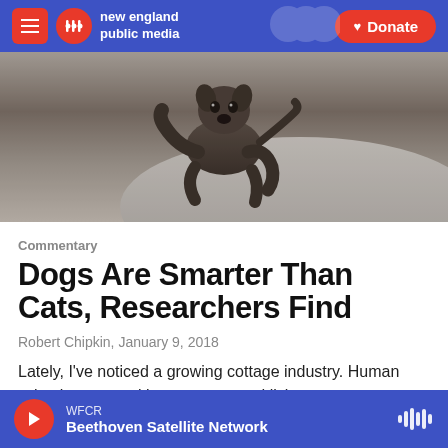new england public media | Donate
[Figure (photo): A dog (appears to be hairless or short-haired breed) climbing or standing on a rock, looking toward the camera. Close-up shot in black and white / muted tones.]
Commentary
Dogs Are Smarter Than Cats, Researchers Find
Robert Chipkin,  January 9, 2018
Lately, I've noticed a growing cottage industry. Human scientists are making a pretty good living
WFCR  Beethoven Satellite Network